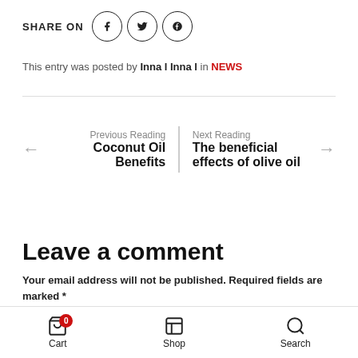SHARE ON (social icons: Facebook, Twitter, Pinterest)
This entry was posted by Inna l Inna l in NEWS
Previous Reading
Coconut Oil Benefits
Next Reading
The beneficial effects of olive oil
Leave a comment
Your email address will not be published. Required fields are marked *
Cart (0) | Shop | Search